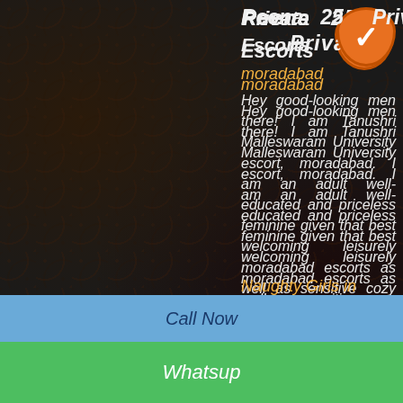Reena 25 Private Escorts
moradabad
Hey good-looking men there! I am Tanushri Malleswaram University escort, moradabad. I am an adult well-educated and priceless feminine given that best welcoming leisurely moradabad escorts as well as sensitive cozy escortship.
Naughty Girls in moradabad
Call Us | Message Us
Shefali 19 Private Escorts
moradabad
My name is Sonu reddy 22 years of
Call Now
Whatsup